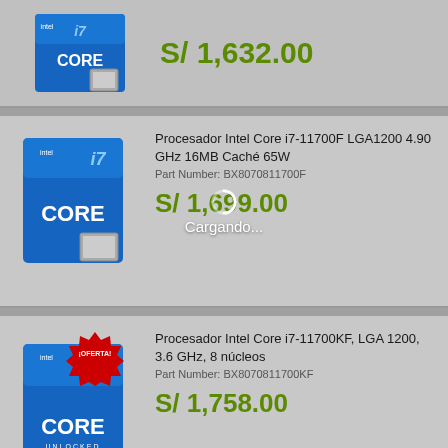[Figure (screenshot): Intel Core i7 processor box (top, partially visible)]
S/ 1,632.00
[Figure (screenshot): Intel Core i7-11700F processor box]
Procesador Intel Core i7-11700F LGA1200 4.90 GHz 16MB Caché 65W
Part Number: BX8070811700F
S/ 1,699.00
Cargando...
[Figure (screenshot): Intel Core i7-11700KF processor box with ¡OFERTA! badge]
Procesador Intel Core i7-11700KF, LGA 1200, 3.6 GHz, 8 núcleos
Part Number: BX8070811700KF
S/ 1,758.00